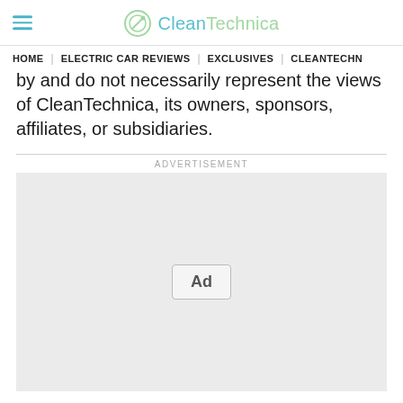CleanTechnica
HOME | ELECTRIC CAR REVIEWS | EXCLUSIVES | CLEANTECHN
by and do not necessarily represent the views of CleanTechnica, its owners, sponsors, affiliates, or subsidiaries.
ADVERTISEMENT
[Figure (other): Advertisement placeholder box with 'Ad' badge in the center]